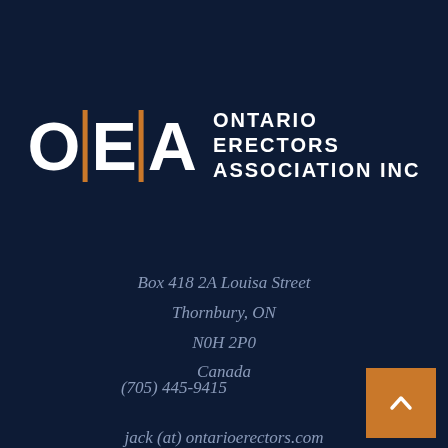[Figure (logo): OEA Ontario Erectors Association Inc logo — large white block letters O, E, A separated by orange vertical bars, with the full organization name to the right in white capital letters on dark navy background]
Box 418 2A Louisa Street
Thornbury, ON
N0H 2P0
Canada
(705) 445-9415
jack (at) ontarioerectors.com